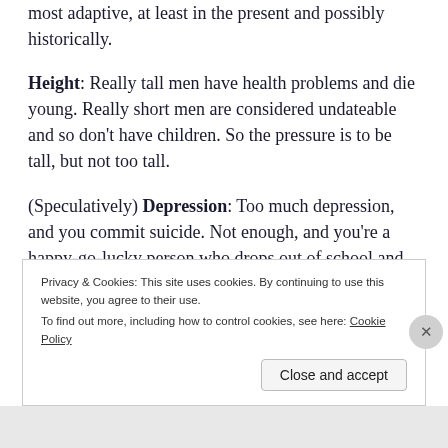most adaptive, at least in the present and possibly historically.
Height: Really tall men have health problems and die young. Really short men are considered undateable and so don't have children. So the pressure is to be tall, but not too tall.
(Speculatively) Depression: Too much depression, and you commit suicide. Not enough, and you're a happy-go-lucky person who drops out of school and punches people.
Privacy & Cookies: This site uses cookies. By continuing to use this website, you agree to their use.
To find out more, including how to control cookies, see here: Cookie Policy
Close and accept